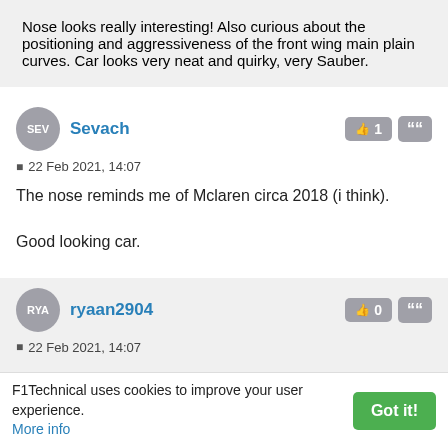Nose looks really interesting! Also curious about the positioning and aggressiveness of the front wing main plain curves. Car looks very neat and quirky, very Sauber.
Sevach
22 Feb 2021, 14:07
The nose reminds me of Mclaren circa 2018 (i think).

Good looking car.
ryaan2904
22 Feb 2021, 14:07
““ Xwang wrote: ↑
F1Technical uses cookies to improve your user experience. More info